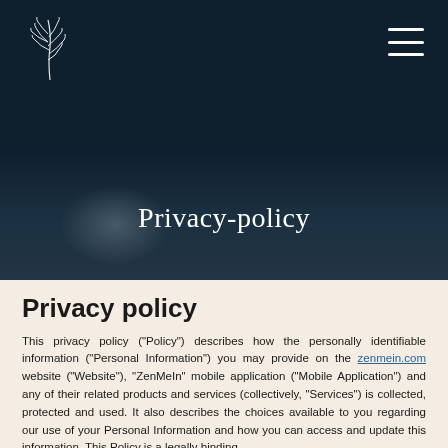[Figure (logo): White botanical/plant line art logo on dark background]
Privacy-policy
Privacy policy
This privacy policy ("Policy") describes how the personally identifiable information ("Personal Information") you may provide on the zenmein.com website ("Website"), "ZenMeIn" mobile application ("Mobile Application") and any of their related products and services (collectively, "Services") is collected, protected and used. It also describes the choices available to you regarding our use of your Personal Information and how you can access and update this information. This Policy is a legally binding